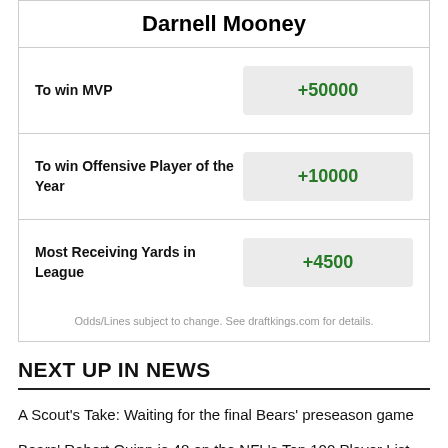Darnell Mooney
| Bet Type | Odds |
| --- | --- |
| To win MVP | +50000 |
| To win Offensive Player of the Year | +10000 |
| Most Receiving Yards in League | +4500 |
Odds/Lines subject to change. See draftkings.com for details.
NEXT UP IN NEWS
A Scout's Take: Waiting for the final Bears' preseason game
Bears' Robert Quinn is 48 on the NFL's Top 100 Player List
Bears' notes: Jaquan Brisker surgery, Khalil Herbert carted